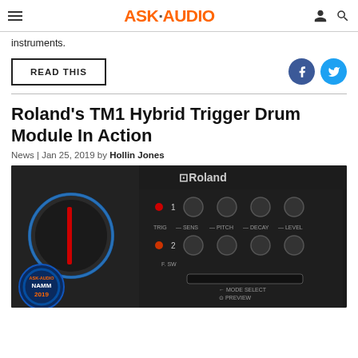ASK·AUDIO
instruments.
READ THIS
Roland's TM1 Hybrid Trigger Drum Module In Action
News | Jan 25, 2019 by Hollin Jones
[Figure (photo): Roland TM1 Hybrid Trigger Drum Module device close-up showing knobs, triggers, and mode select controls with Roland branding and ASK Audio NAMM 2019 badge overlay]